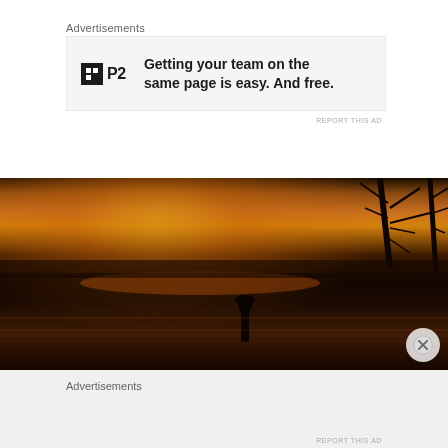Advertisements
[Figure (screenshot): Advertisement banner for P2 product with logo and text: Getting your team on the same page is easy. And free.]
REPORT THIS AD
[Figure (photo): Sunset landscape photograph showing a silhouette of a person near a reflective body of water with bare tree branches against an orange and dark sky]
Advertisements
REPORT THIS AD